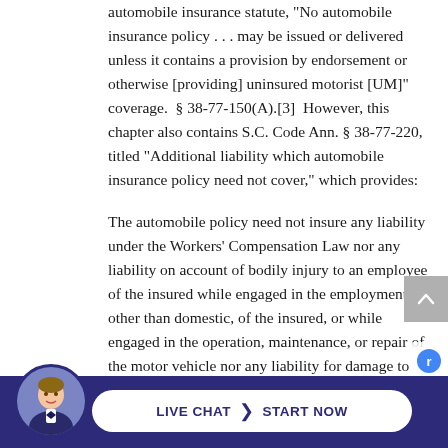automobile insurance statute, "No automobile insurance policy . . . may be issued or delivered unless it contains a provision by endorsement or otherwise [providing] uninsured motorist [UM]" coverage.  § 38-77-150(A).[3]  However, this chapter also contains S.C. Code Ann. § 38-77-220, titled "Additional liability which automobile insurance policy need not cover," which provides:
The automobile policy need not insure any liability under the Workers' Compensation Law nor any liability on account of bodily injury to an employee of the insured while engaged in the employment, other than domestic, of the insured, or while engaged in the operation, maintenance, or repair of the motor vehicle nor any liability for damage to property owned by, rented to, in charge of, or transported th...
[Figure (other): Live chat button bar at bottom with avatar photo of man in suit, white pill-shaped button reading LIVE CHAT > START NOW on dark blue/purple background]